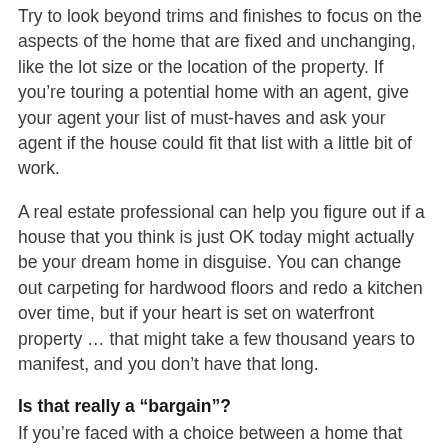Try to look beyond trims and finishes to focus on the aspects of the home that are fixed and unchanging, like the lot size or the location of the property. If you're touring a potential home with an agent, give your agent your list of must-haves and ask your agent if the house could fit that list with a little bit of work.
A real estate professional can help you figure out if a house that you think is just OK today might actually be your dream home in disguise. You can change out carpeting for hardwood floors and redo a kitchen over time, but if your heart is set on waterfront property … that might take a few thousand years to manifest, and you don't have that long.
Is that really a “bargain”?
If you’re faced with a choice between a home that seems like a bargain but requires some fixing-up and a home that’s more expensive but requires little or no work, which should you choose?